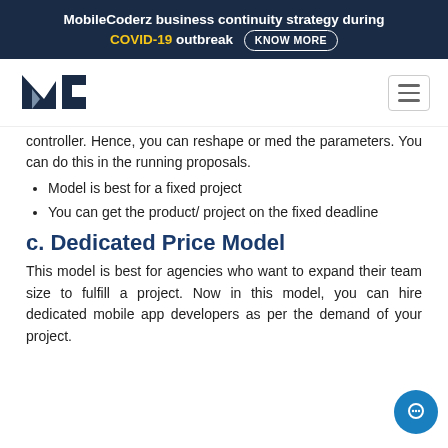MobileCoderz business continuity strategy during COVID-19 outbreak KNOW MORE
[Figure (logo): MobileCoderz logo — stylized MC letters in dark navy blue]
controller. Hence, you can reshape or med the parameters. You can do this in the running proposals.
Model is best for a fixed project
You can get the product/ project on the fixed deadline
c. Dedicated Price Model
This model is best for agencies who want to expand their team size to fulfill a project. Now in this model, you can hire dedicated mobile app developers as per the demand of your project.